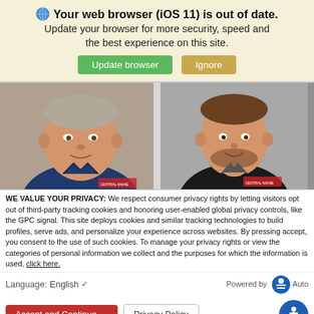Your web browser (iOS 11) is out of date. Update your browser for more security, speed and the best experience on this site.
[Figure (photo): Two headshot photos of men in dark polo shirts with company logos, side by side]
WE VALUE YOUR PRIVACY: We respect consumer privacy rights by letting visitors opt out of third-party tracking cookies and honoring user-enabled global privacy controls, like the GPC signal. This site deploys cookies and similar tracking technologies to build profiles, serve ads, and personalize your experience across websites. By pressing accept, you consent to the use of such cookies. To manage your privacy rights or view the categories of personal information we collect and the purposes for which the information is used, click here.
Language:   English    ∨   Powered by ...Auto
Accept and Continue →   Privacy Policy